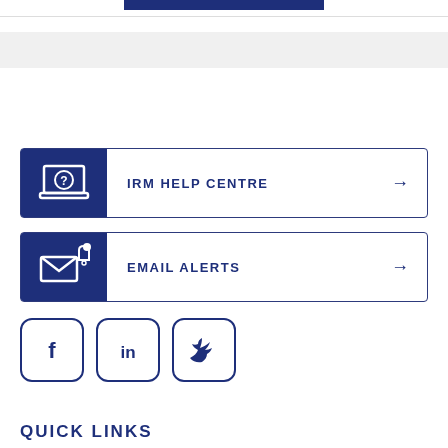[Figure (infographic): IRM Help Centre button with laptop/question mark icon and right arrow]
[Figure (infographic): Email Alerts button with envelope/bell icon and right arrow]
[Figure (infographic): Social media icons: Facebook, LinkedIn, Twitter]
QUICK LINKS